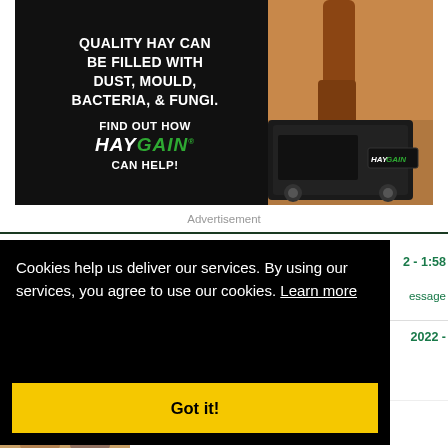[Figure (advertisement): Haygain advertisement banner with dark background, bold white text reading 'QUALITY HAY CAN BE FILLED WITH DUST, MOULD, BACTERIA, & FUNGI. FIND OUT HOW HAYGAIN CAN HELP!' with an image of a horse leg and black equipment on the right side.]
Advertisement
Cookies help us deliver our services. By using our services, you agree to use our cookies. Learn more
Got it!
2 - 1:58
essage
2022 -
7:30 AM